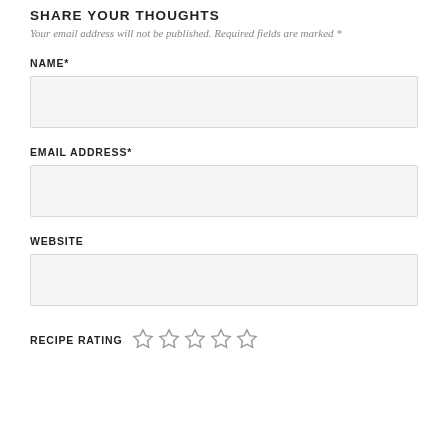SHARE YOUR THOUGHTS
Your email address will not be published. Required fields are marked *
NAME*
[Figure (other): Empty text input field for name]
EMAIL ADDRESS*
[Figure (other): Empty text input field for email address]
WEBSITE
[Figure (other): Empty text input field for website]
RECIPE RATING ☆☆☆☆☆